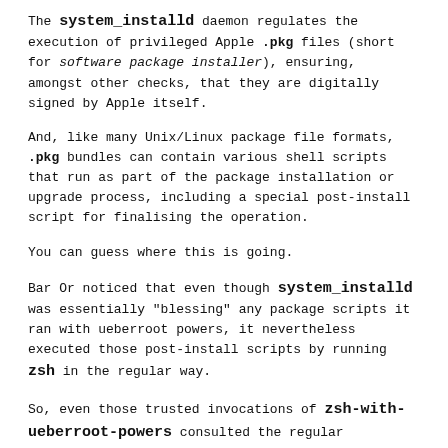The system_installd daemon regulates the execution of privileged Apple .pkg files (short for software package installer), ensuring, amongst other checks, that they are digitally signed by Apple itself.
And, like many Unix/Linux package file formats, .pkg bundles can contain various shell scripts that run as part of the package installation or upgrade process, including a special post-install script for finalising the operation.
You can guess where this is going.
Bar Or noticed that even though system_installd was essentially "blessing" any package scripts it ran with ueberroot powers, it nevertheless executed those post-install scripts by running zsh in the regular way.
So, even those trusted invocations of zsh-with-ueberroot-powers consulted the regular /etc/zshenv file first, and executed any commands in that file with system_installd privileges.